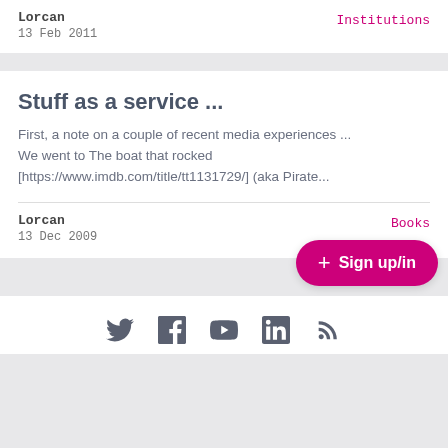Lorcan
13 Feb 2011
Institutions
Stuff as a service ...
First, a note on a couple of recent media experiences ... We went to The boat that rocked [https://www.imdb.com/title/tt1131729/] (aka Pirate...
Lorcan
13 Dec 2009
Books
+ Sign up/in